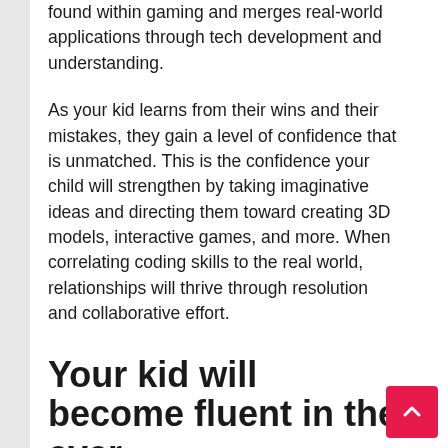found within gaming and merges real-world applications through tech development and understanding.
As your kid learns from their wins and their mistakes, they gain a level of confidence that is unmatched. This is the confidence your child will strengthen by taking imaginative ideas and directing them toward creating 3D models, interactive games, and more. When correlating coding skills to the real world, relationships will thrive through resolution and collaborative effort.
Your kid will become fluent in the ever-